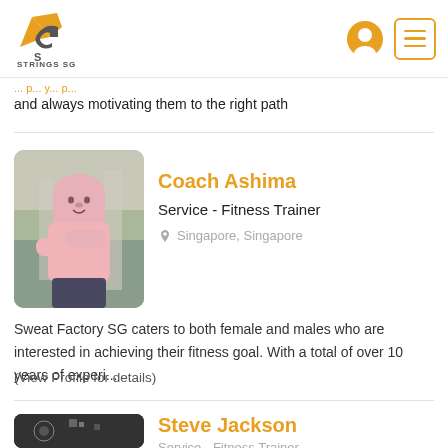[Figure (logo): Strings SG logo with orange S-G emblem and text 'Strings SG' below]
and always motivating them to the right path
Coach Ashima
Service - Fitness Trainer
Singapore, Singapore
Sweat Factory SG caters to both female and males who are interested in achieving their fitness goal. With a total of over 10 years of experi...
(View Profile for details)
Steve Jackson
Service - Fitness Trainer